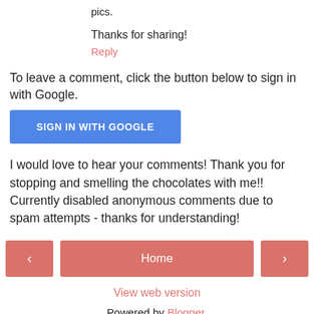pics.
Thanks for sharing!
Reply
To leave a comment, click the button below to sign in with Google.
[Figure (other): Blue button labeled SIGN IN WITH GOOGLE]
I would love to hear your comments! Thank you for stopping and smelling the chocolates with me!! Currently disabled anonymous comments due to spam attempts - thanks for understanding!
[Figure (other): Navigation row with left arrow button, Home button, and right arrow button]
View web version
Powered by Blogger.